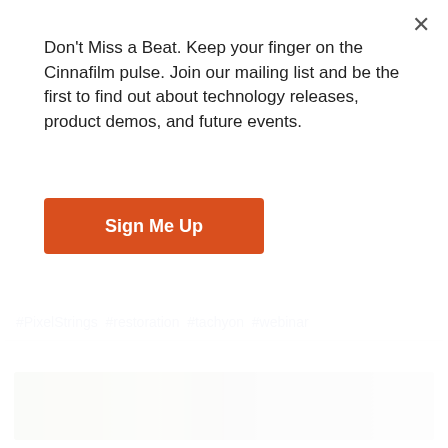Don't Miss a Beat. Keep your finger on the Cinnafilm pulse. Join our mailing list and be the first to find out about technology releases, product demos, and future events.
Sign Me Up
#PixelStrings #restoration #tachyon #webinar
[Figure (photo): Half colorized, half black-and-white photograph of World War I soldiers eating and socializing, showing restoration/colorization work]
December 17th 2018